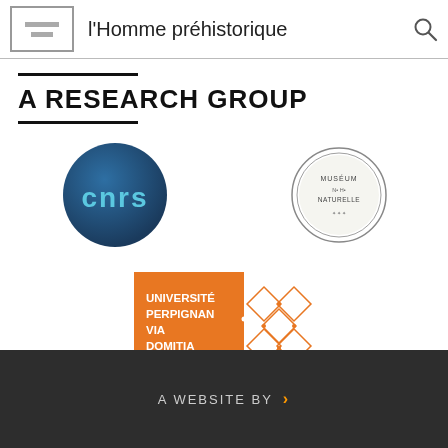l'Homme préhistorique
A RESEARCH GROUP
[Figure (logo): CNRS logo - dark blue circle with white 'cnrs' text]
[Figure (logo): Muséum National d'Histoire Naturelle circular seal logo]
[Figure (logo): Université Perpignan Via Domitia logo - orange square with diamond grid pattern]
A WEBSITE BY